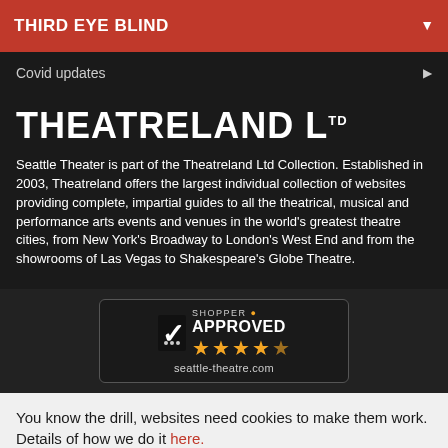THIRD EYE BLIND
Covid updates
THEATRELAND LTD
Seattle Theater is part of the Theatreland Ltd Collection. Established in 2003, Theatreland offers the largest individual collection of websites providing complete, impartial guides to all the theatrical, musical and performance arts events and venues in the world's greatest theatre cities, from New York's Broadway to London's West End and from the showrooms of Las Vegas to Shakespeare's Globe Theatre.
[Figure (logo): Shopper Approved badge with 4.5 stars and URL seattle-theatre.com]
You know the drill, websites need cookies to make them work. Details of how we do it here.
Got it!